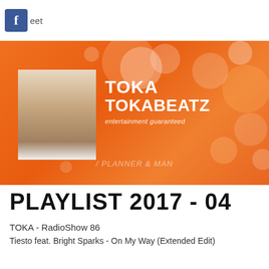[Figure (logo): Facebook icon (blue square with white f) and Tweet text]
[Figure (photo): Orange bokeh banner with man's portrait photo on left and TOKA TOKABEATZ entertainment guaranteed branding text on right]
PLAYLIST 2017 - 04
TOKA - RadioShow 86
Tiesto feat. Bright Sparks - On My Way (Extended Edit)